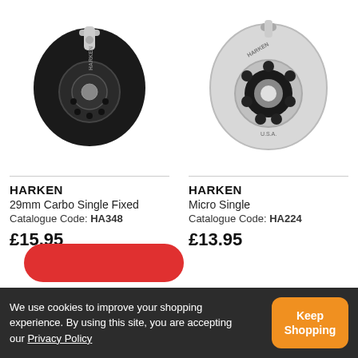[Figure (photo): Black Harken 29mm Carbo Single Fixed pulley block, left product image]
[Figure (photo): Silver/chrome Harken Micro Single pulley block, right product image]
HARKEN
29mm Carbo Single Fixed
Catalogue Code: HA348
£15.95
HARKEN
Micro Single
Catalogue Code: HA224
£13.95
We use cookies to improve your shopping experience. By using this site, you are accepting our Privacy Policy
Keep Shopping